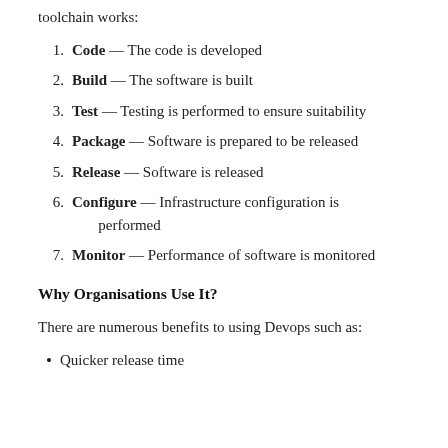toolchain works:
1. Code — The code is developed
2. Build — The software is built
3. Test — Testing is performed to ensure suitability
4. Package — Software is prepared to be released
5. Release — Software is released
6. Configure — Infrastructure configuration is performed
7. Monitor — Performance of software is monitored
Why Organisations Use It?
There are numerous benefits to using Devops such as:
Quicker release time